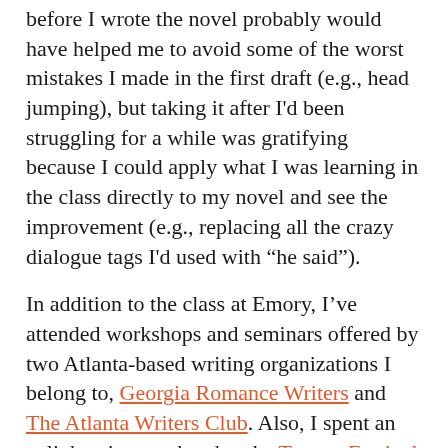before I wrote the novel probably would have helped me to avoid some of the worst mistakes I made in the first draft (e.g., head jumping), but taking it after I'd been struggling for a while was gratifying because I could apply what I was learning in the class directly to my novel and see the improvement (e.g., replacing all the crazy dialogue tags I'd used with "he said").
In addition to the class at Emory, I've attended workshops and seminars offered by two Atlanta-based writing organizations I belong to, Georgia Romance Writers and The Atlanta Writers Club. Also, I spent an enlightening weekend at the Tucson Festival of Books, where there were a number of sessions aimed at writers. Sometimes the workshops are duds, but overall they've been useful and a worthwhile investment of my time and money.